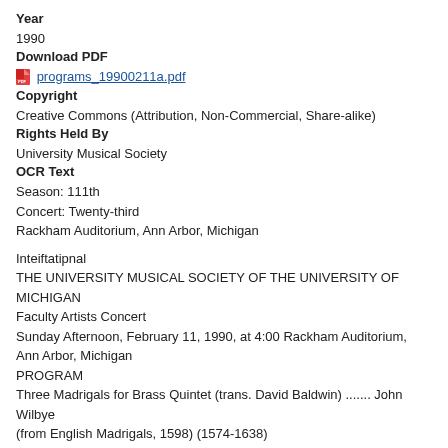Year
1990
Download PDF
programs_19900211a.pdf
Copyright
Creative Commons (Attribution, Non-Commercial, Share-alike)
Rights Held By
University Musical Society
OCR Text
Season: 111th
Concert: Twenty-third
Rackham Auditorium, Ann Arbor, Michigan
Inteiftatipnal
THE UNIVERSITY MUSICAL SOCIETY OF THE UNIVERSITY OF MICHIGAN
Faculty Artists Concert
Sunday Afternoon, February 11, 1990, at 4:00 Rackham Auditorium, Ann Arbor, Michigan
PROGRAM
Three Madrigals for Brass Quintet (trans. David Baldwin) ....... John Wilbye
(from English Madrigals, 1598) (1574-1638)
Fall, I fall, O stay me